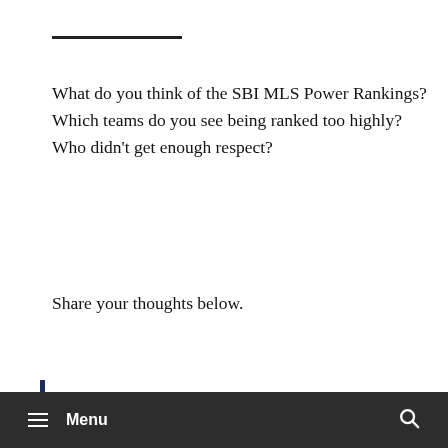——————
What do you think of the SBI MLS Power Rankings? Which teams do you see being ranked too highly? Who didn't get enough respect?
Share your thoughts below.
Related
[Figure (photo): A soccer player with curly hair laughing, with green and yellow background elements including what appears to be a Brazil flag.]
Menu